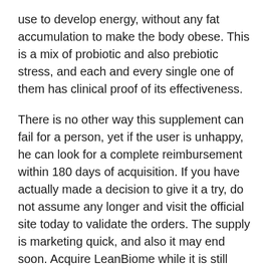use to develop energy, without any fat accumulation to make the body obese. This is a mix of probiotic and also prebiotic stress, and each and every single one of them has clinical proof of its effectiveness.
There is no other way this supplement can fail for a person, yet if the user is unhappy, he can look for a complete reimbursement within 180 days of acquisition. If you have actually made a decision to give it a try, do not assume any longer and visit the official site today to validate the orders. The supply is marketing quick, and also it may end soon. Acquire LeanBiome while it is still offered utilizing this straight link to the main web site.